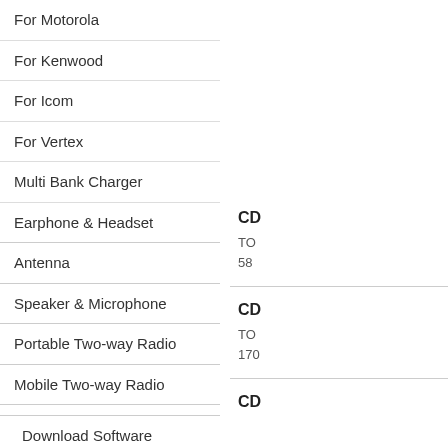For Motorola
For Kenwood
For Icom
For Vertex
Multi Bank Charger
Earphone & Headset
Antenna
Speaker & Microphone
Portable Two-way Radio
Mobile Two-way Radio
Download Software
About Us
Contact Us
CD
TO
58
CD
TO
170
CD